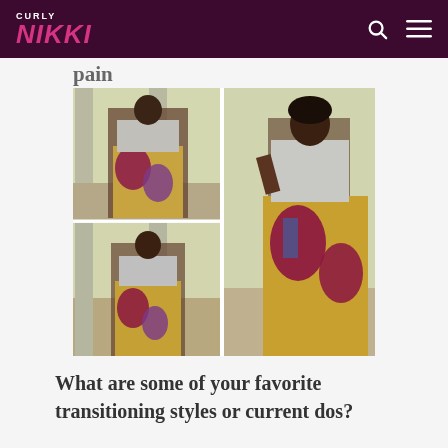CURLY NIKKI
pain
[Figure (photo): Three-panel photo collage of a woman wearing a colorful African print maxi skirt and grey top, shown in different poses against a neutral room background.]
What are some of your favorite transitioning styles or current dos?